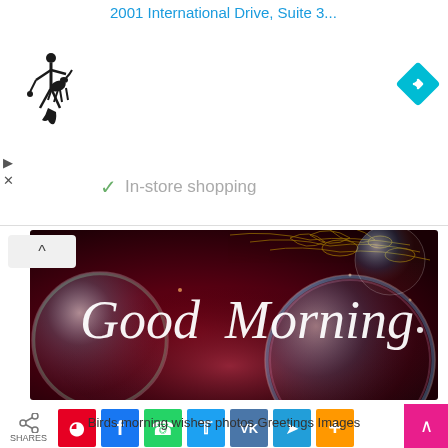2001 International Drive, Suite 3...
In-store shopping
[Figure (photo): Good Morning greeting image with colorful bubbles on dark red background with gold decorative elements]
SHARES
Birds morning wishes photos Greetings Images